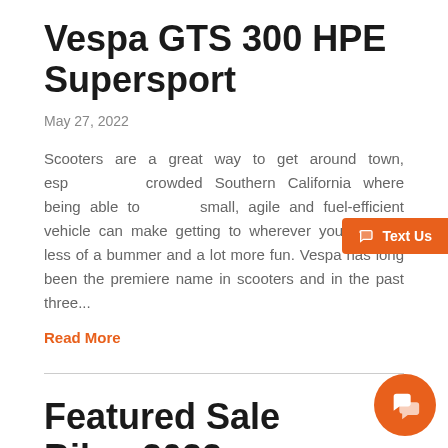Vespa GTS 300 HPE Supersport
May 27, 2022
Scooters are a great way to get around town, especially in crowded Southern California where being able to use a small, agile and fuel-efficient vehicle can make getting to wherever you're going less of a bummer and a lot more fun. Vespa has long been the premiere name in scooters and in the past three...
Read More
Featured Sale Bike: 2022 Vespa Primavera 150 ABS